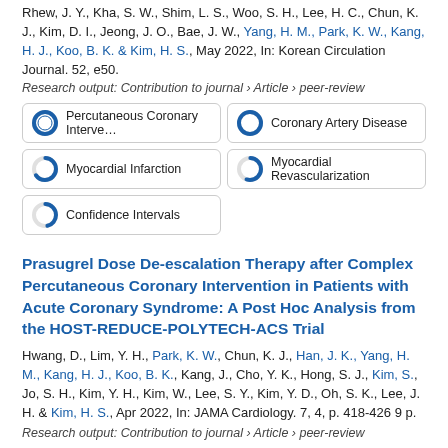Rhew, J. Y., Kha, S. W., Shim, L. S., Woo, S. H., Lee, H. C., Chun, K. J., Kim, D. I., Jeong, J. O., Bae, J. W., Yang, H. M., Park, K. W., Kang, H. J., Koo, B. K. & Kim, H. S., May 2022, In: Korean Circulation Journal. 52, e50.
Research output: Contribution to journal › Article › peer-review
[Figure (infographic): 5 keyword badges: Percutaneous Coronary Intervention, Coronary Artery Disease, Myocardial Infarction, Myocardial Revascularization, Confidence Intervals — each with a circular donut icon showing fill level]
Prasugrel Dose De-escalation Therapy after Complex Percutaneous Coronary Intervention in Patients with Acute Coronary Syndrome: A Post Hoc Analysis from the HOST-REDUCE-POLYTECH-ACS Trial
Hwang, D., Lim, Y. H., Park, K. W., Chun, K. J., Han, J. K., Yang, H. M., Kang, H. J., Koo, B. K., Kang, J., Cho, Y. K., Hong, S. J., Kim, S., Jo, S. H., Kim, Y. H., Kim, W., Lee, S. Y., Kim, Y. D., Oh, S. K., Lee, J. H. & Kim, H. S., Apr 2022, In: JAMA Cardiology. 7, 4, p. 418-426 9 p.
Research output: Contribution to journal › Article › peer-review